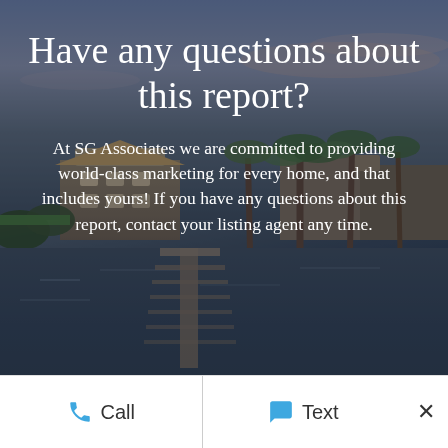[Figure (photo): Background photo of waterfront homes and marina with palm trees at dusk/dawn, featuring a dock extending over calm water with reflections. Sky has pink and blue hues.]
Have any questions about this report?
At SG Associates we are committed to providing world-class marketing for every home, and that includes yours! If you have any questions about this report, contact your listing agent any time.
Approved Proposed Dock Extension
Call   Text   ×